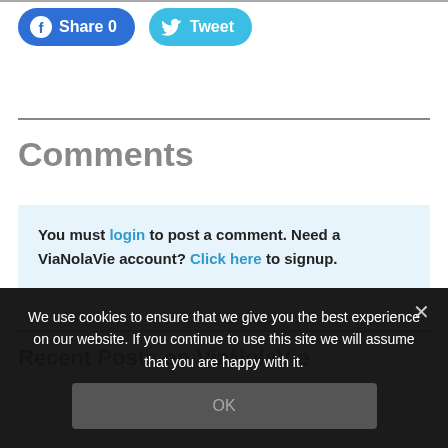[Figure (other): Facebook Share button with count 0 and Twitter Tweet button]
Comments
You must login to post a comment. Need a ViaNolaVie account? Click here to signup.
Recent Posts on ViaNolaVie
We use cookies to ensure that we give you the best experience on our website. If you continue to use this site we will assume that you are happy with it.
OK